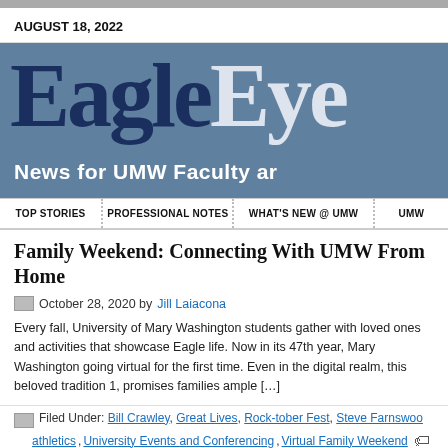AUGUST 18, 2022
[Figure (logo): EagleEye logo banner — 'Eagle' in dark navy and 'Eye' in light gray on a steel-blue background, with tagline 'News for UMW Faculty ar...']
TOP STORIES | PROFESSIONAL NOTES | WHAT'S NEW @ UMW | UMW...
Family Weekend: Connecting With UMW From Home
October 28, 2020 by Jill Laiacona
Every fall, University of Mary Washington students gather with loved ones and activities that showcase Eagle life. Now in its 47th year, Mary Washington going virtual for the first time. Even in the digital realm, this beloved tradition 1, promises families ample […]
Filed Under: Bill Crawley, Great Lives, Rock-tober Fest, Steve Farnstwo... athletics, University Events and Conferencing, Virtual Family Weekend
Campus Recreation, COVID-19 in Context, Department of Chemistry...